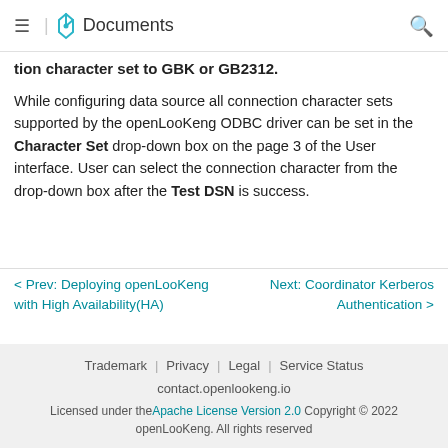≡ | Documents
tion character set to GBK or GB2312.
While configuring data source all connection character sets supported by the openLooKeng ODBC driver can be set in the Character Set drop-down box on the page 3 of the User interface. User can select the connection character from the drop-down box after the Test DSN is success.
< Prev: Deploying openLooKeng with High Availability(HA)
Next: Coordinator Kerberos Authentication >
Trademark | Privacy | Legal | Service Status
contact.openlookeng.io
Licensed under the Apache License Version 2.0 Copyright © 2022 openLooKeng. All rights reserved